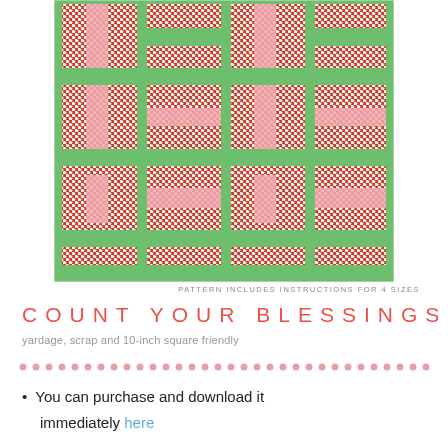[Figure (photo): A quilt pattern photo showing a red, green, and pink patchwork quilt with a checkered small-square design and solid green and pink rectangular blocks arranged in a repeating pattern on a green background.]
PATTERN INCLUDES INSTRUCTIONS FOR 4 SIZES
COUNT YOUR BLESSINGS
yardage, scrap and 10-inch square friendly
[Figure (other): A decorative dotted line separator in pink/salmon color]
You can purchase and download it immediately here